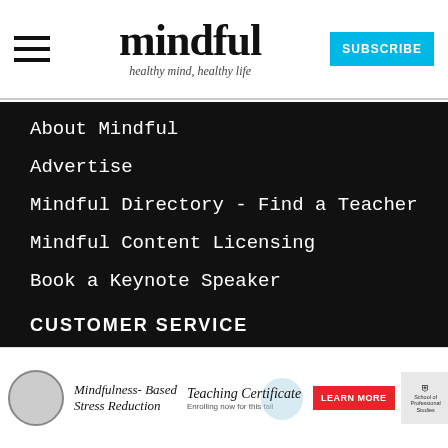mindful — healthy mind, healthy life
About Mindful
Advertise
Mindful Directory - Find a Teacher
Mindful Content Licensing
Book a Keynote Speaker
Privacy Policies
Join Our Team
CUSTOMER SERVICE
[Figure (screenshot): Advertisement banner: Mindfulness-Based Stress Reduction Teaching Certificate — Enrolling now for this fall, with Learn More button and School of Professional Studies logo]